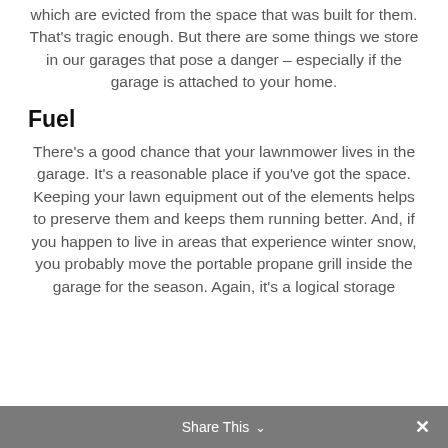which are evicted from the space that was built for them. That's tragic enough. But there are some things we store in our garages that pose a danger – especially if the garage is attached to your home.
Fuel
There's a good chance that your lawnmower lives in the garage. It's a reasonable place if you've got the space. Keeping your lawn equipment out of the elements helps to preserve them and keeps them running better. And, if you happen to live in areas that experience winter snow, you probably move the portable propane grill inside the garage for the season. Again, it's a logical storage
Share This ∨  ✕